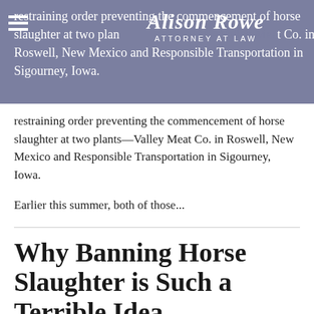restraining order preventing the commencement of horse slaughter at two plants—Valley Meat Co. in Roswell, New Mexico and Responsible Transportation in Sigourney, Iowa.
Earlier this summer, both of those...
Why Banning Horse Slaughter is Such a Terrible Idea
By Alison Rowe on August 14, 2012
Posted in Horse Slaughter, Legislation
Author's Note: This post is purely editorial in nature. The views expressed in this post are 100%